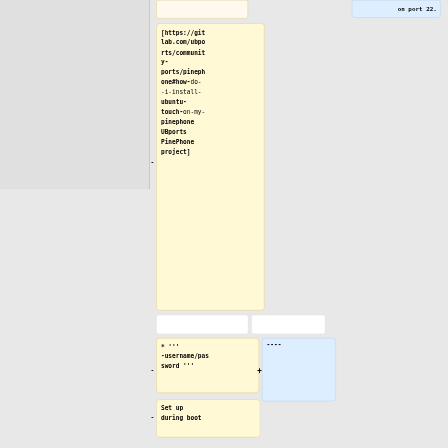on port 22.
[https://gitlab.com/ubports/community-ports/pinephone#how-do-i-install-ubuntu-touch-on-my-pinephone UBports PinePhone project]
* ''' -username/password '''
----
Set up during boot